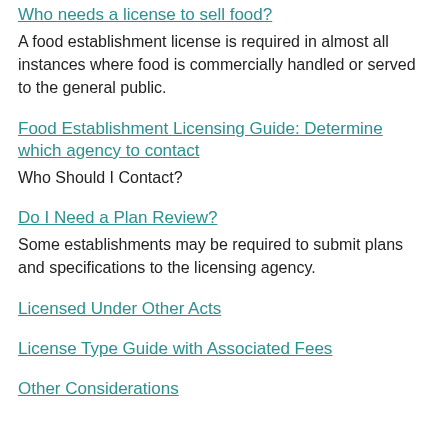Who needs a license to sell food?
A food establishment license is required in almost all instances where food is commercially handled or served to the general public.
Food Establishment Licensing Guide: Determine which agency to contact
Who Should I Contact?
Do I Need a Plan Review?
Some establishments may be required to submit plans and specifications to the licensing agency.
Licensed Under Other Acts
License Type Guide with Associated Fees
Other Considerations